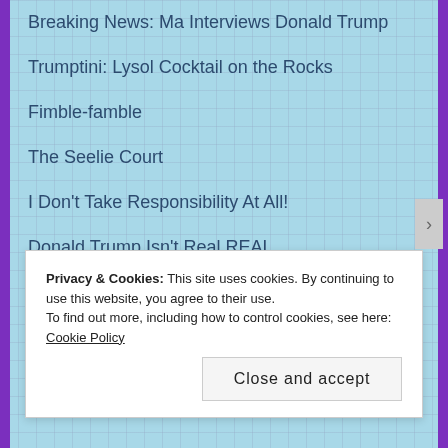Breaking News: Ma Interviews Donald Trump
Trumptini: Lysol Cocktail on the Rocks
Fimble-famble
The Seelie Court
I Don't Take Responsibility At All!
Donald Trump Isn't Real REAL
Bobo the Mutt is Dead! Long Live Bobo the Mutt!
Protected: Formicidae by Larry Leiva
AD: Self-Interview of the Self, Part II
Privacy & Cookies: This site uses cookies. By continuing to use this website, you agree to their use. To find out more, including how to control cookies, see here: Cookie Policy
Close and accept